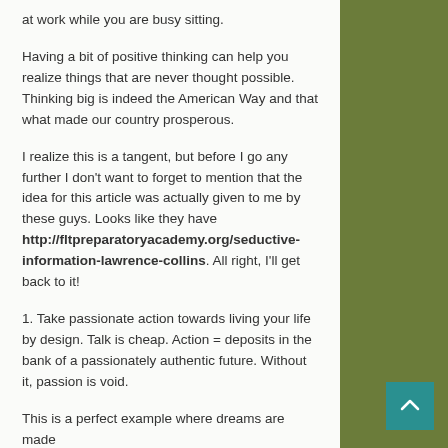at work while you are busy sitting.
Having a bit of positive thinking can help you realize things that are never thought possible. Thinking big is indeed the American Way and that what made our country prosperous.
I realize this is a tangent, but before I go any further I don't want to forget to mention that the idea for this article was actually given to me by these guys. Looks like they have http://fltpreparatoryacademy.org/seductive-information-lawrence-collins. All right, I'll get back to it!
1. Take passionate action towards living your life by design. Talk is cheap. Action = deposits in the bank of a passionately authentic future. Without it, passion is void.
This is a perfect example where dreams are made